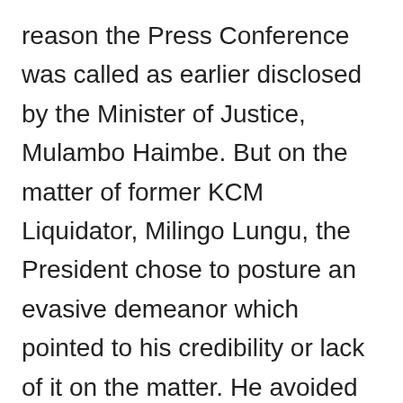reason the Press Conference was called as earlier disclosed by the Minister of Justice, Mulambo Haimbe. But on the matter of former KCM Liquidator, Milingo Lungu, the President chose to posture an evasive demeanor which pointed to his credibility or lack of it on the matter. He avoided answering direct questions which are in the minds of people. Did he meet Milingo?
He was circuitous but finally admitted to the meeting as a by-the-way issue when it was actually the main issue.